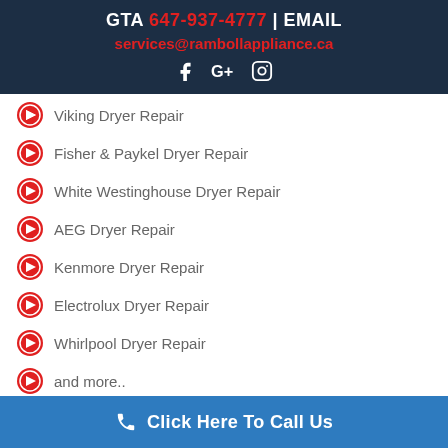GTA 647-937-4777 | EMAIL services@rambollappliance.ca
Viking Dryer Repair
Fisher & Paykel Dryer Repair
White Westinghouse Dryer Repair
AEG Dryer Repair
Kenmore Dryer Repair
Electrolux Dryer Repair
Whirlpool Dryer Repair
and more..
Click Here To Call Us